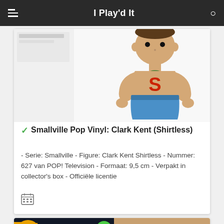I Play'd It
[Figure (photo): Funko Pop vinyl figure of Clark Kent Shirtless from Smallville, showing a muscular figure with an 'S' on the chest and blue shorts]
Smallville Pop Vinyl: Clark Kent (Shirtless)
- Serie: Smallville - Figure: Clark Kent Shirtless - Nummer: 627 van POP! Television - Formaat: 9,5 cm - Verpakt in collector's box - Officiële licentie
[Figure (photo): Bottom card showing Rick and Morty POP! box number 304 on the left and a partial figure image on the right]